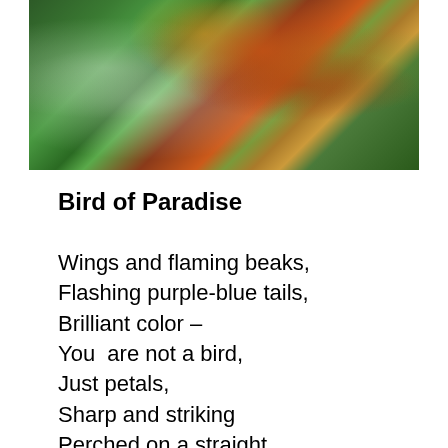[Figure (photo): Close-up photograph of a Bird of Paradise flower with red, orange, and green petals against a blurred background of green foliage]
Bird of Paradise
Wings and flaming beaks,
Flashing purple-blue tails,
Brilliant color –
You  are not a bird,
Just petals,
Sharp and striking
Perched on a straight